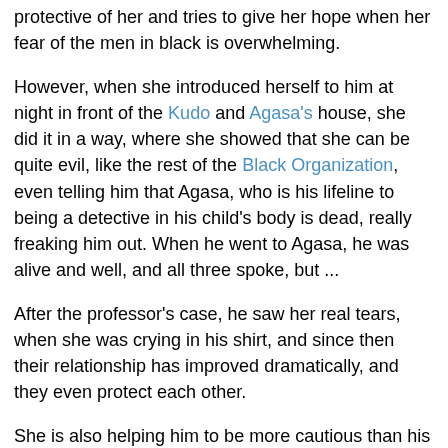protective of her and tries to give her hope when her fear of the men in black is overwhelming.
However, when she introduced herself to him at night in front of the Kudo and Agasa's house, she did it in a way, where she showed that she can be quite evil, like the rest of the Black Organization, even telling him that Agasa, who is his lifeline to being a detective in his child's body is dead, really freaking him out. When he went to Agasa, he was alive and well, and all three spoke, but ...
After the professor's case, he saw her real tears, when she was crying in his shirt, and since then their relationship has improved dramatically, and they even protect each other.
She is also helping him to be more cautious than his initial, "The Black Organization is involved. I am scared, but I will hunt them down, and try and get the antidote," without thinking of the consequences.
He is still determined to take down that organization, but he is now wiser than he was at in, whereas, she is more inclined to err on the side of caution, "Stop. Don't Go. Stay out of this," which will not take the organization down but